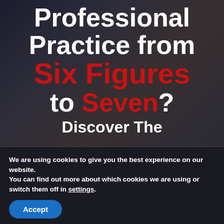Professional Practice from Six Figures to Seven? Discover The
We are using cookies to give you the best experience on our website.
You can find out more about which cookies we are using or switch them off in settings.